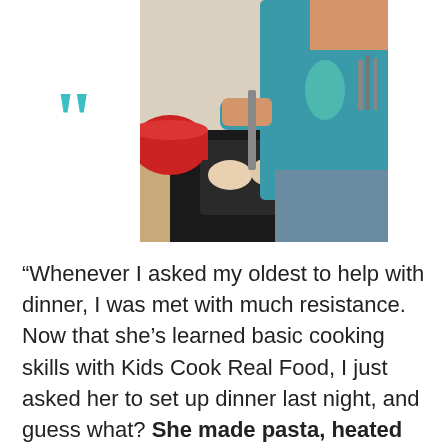[Figure (photo): A person in a teal sleeveless shirt cooking in a kitchen, using a spatula over a black pan on the stove. A red pot is visible in the background along with wooden cabinets.]
“Whenever I asked my oldest to help with dinner, I was met with much resistance. Now that she’s learned basic cooking skills with Kids Cook Real Food, I just asked her to set up dinner last night, and guess what? She made pasta, heated sauce, and homemade